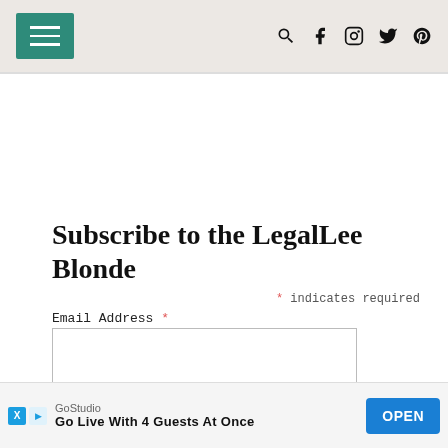LegalLee Blonde navigation header with menu button and social icons
Subscribe to the LegalLee Blonde
* indicates required
Email Address *
SUBSCRIBE
GoStudio
Go Live With 4 Guests At Once